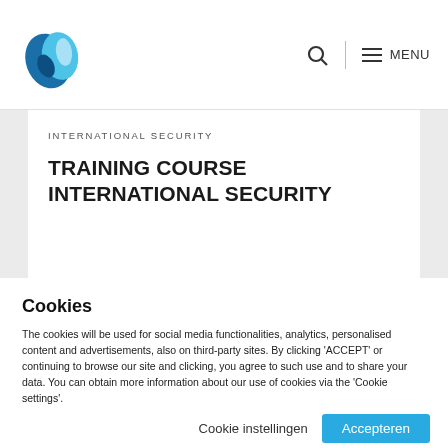INTERNATIONAL SECURITY | MENU
INTERNATIONAL SECURITY
TRAINING COURSE INTERNATIONAL SECURITY
Cookies
The cookies will be used for social media functionalities, analytics, personalised content and advertisements, also on third-party sites. By clicking 'ACCEPT' or continuing to browse our site and clicking, you agree to such use and to share your data. You can obtain more information about our use of cookies via the 'Cookie settings'.
Cookie instellingen | Accepteren